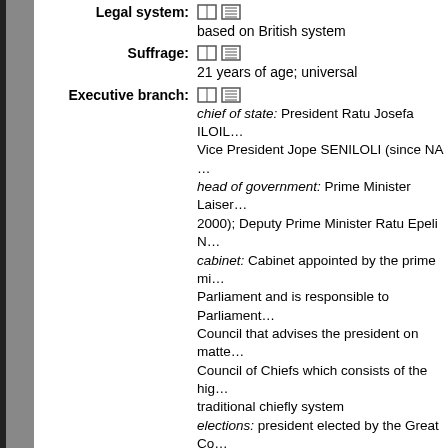Legal system: based on British system
Suffrage: 21 years of age; universal
Executive branch: chief of state: President Ratu Josefa ILOILO; Vice President Jope SENILOLI (since NA ); head of government: Prime Minister Laiser 2000); Deputy Prime Minister Ratu Epeli N; cabinet: Cabinet appointed by the prime minister; Parliament and is responsible to Parliament; Council that advises the president on matters; Council of Chiefs which consists of the high traditional chiefly system; elections: president elected by the Great Council; prime minister appointed by the president; election results: Ratu Josefa ILOILOVATU; Great Council of Chiefs; percent of vote - N
Legislative branch: bicameral Parliament consists of the Senate; Council of Chiefs, nine appointed by the prime; council of Rotuma) and the House of Representatives; ethnic Fijians, 19 reserved for ethnic Indians